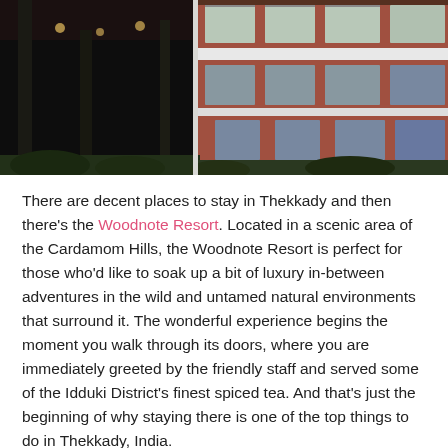[Figure (photo): Exterior photo of Woodnote Resort showing a multi-story brick building with large windows and a covered entrance area with dark interior, surrounded by greenery, viewed from below against a light sky.]
There are decent places to stay in Thekkady and then there's the Woodnote Resort. Located in a scenic area of the Cardamom Hills, the Woodnote Resort is perfect for those who'd like to soak up a bit of luxury in-between adventures in the wild and untamed natural environments that surround it. The wonderful experience begins the moment you walk through its doors, where you are immediately greeted by the friendly staff and served some of the Idduki District's finest spiced tea. And that's just the beginning of why staying there is one of the top things to do in Thekkady, India.
The Rooms